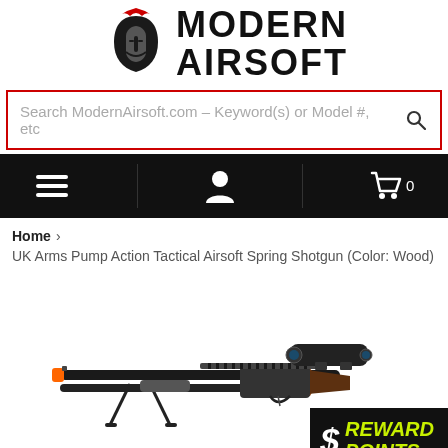[Figure (logo): Modern Airsoft logo with warrior helmet icon and text MODERN AIRSOFT]
Search ModernAirsoft.com – Keyword(s) or Model #, etc
[Figure (infographic): Black navigation bar with hamburger menu icon, user account icon, and shopping cart icon]
Home › UK Arms Pump Action Tactical Airsoft Spring Shotgun (Color: Wood)
[Figure (photo): UK Arms Pump Action Tactical Airsoft Spring Shotgun in Wood color, shown in profile view with scope and bipod on white background. Reward Points badge in bottom right corner.]